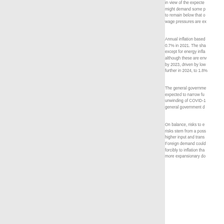in view of the expected labour market tightening, which might demand some p... to remain below that o... wage pressures are ex...
Annual inflation based... 0.7% in 2021. The sha... except for energy infla... although these are env... by 2023, driven by low... further in 2024, to 1.8%...
The general governme... expected to narrow fu... unwinding of COVID-1... general government d...
On balance, risks to e... risks stem from a poss... higher input and trans... Foreign demand could... forcibly to inflation tha... more expansionary do...